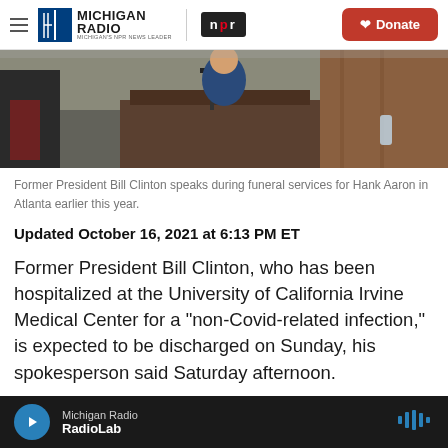Michigan Radio | NPR | Donate
[Figure (photo): Former President Bill Clinton speaking at a podium during funeral services]
Former President Bill Clinton speaks during funeral services for Hank Aaron in Atlanta earlier this year.
Updated October 16, 2021 at 6:13 PM ET
Former President Bill Clinton, who has been hospitalized at the University of California Irvine Medical Center for a "non-Covid-related infection," is expected to be discharged on Sunday, his spokesperson said Saturday afternoon.
Michigan Radio — RadioLab